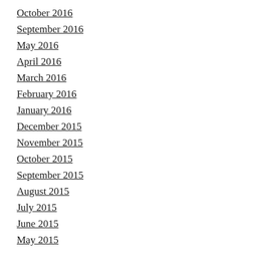October 2016
September 2016
May 2016
April 2016
March 2016
February 2016
January 2016
December 2015
November 2015
October 2015
September 2015
August 2015
July 2015
June 2015
May 2015